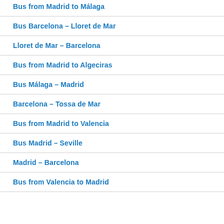Bus from Madrid to Málaga
Bus Barcelona – Lloret de Mar
Lloret de Mar – Barcelona
Bus from Madrid to Algeciras
Bus Málaga – Madrid
Barcelona – Tossa de Mar
Bus from Madrid to Valencia
Bus Madrid – Seville
Madrid – Barcelona
Bus from Valencia to Madrid